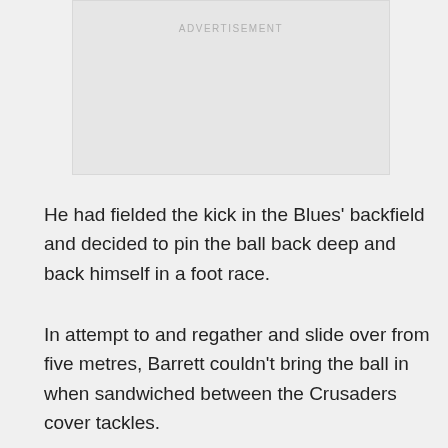[Figure (other): Advertisement placeholder box with light grey background and 'ADVERTISEMENT' label text]
He had fielded the kick in the Blues' backfield and decided to pin the ball back deep and back himself in a foot race.
In attempt to and regather and slide over from five metres, Barrett couldn't bring the ball in when sandwiched between the Crusaders cover tackles.